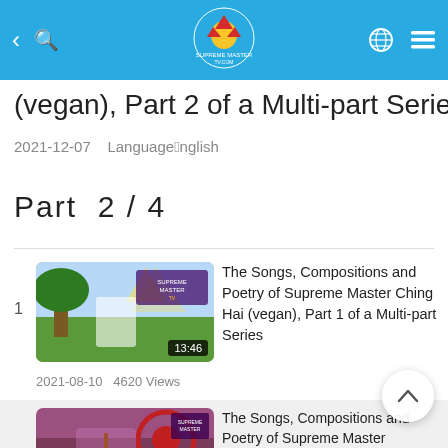Supreme Master TV - header navigation bar
(vegan), Part 2 of a Multi-part Series
2021-12-07   Language：English
Part  2 / 4
1  The Songs, Compositions and Poetry of Supreme Master Ching Hai (vegan), Part 1 of a Multi-part Series  13:46  2021-08-10  4620 Views
The Songs, Compositions and Poetry of Supreme Master Ching Hai (vegan), Part 2 of a Multi-part Series  18:36